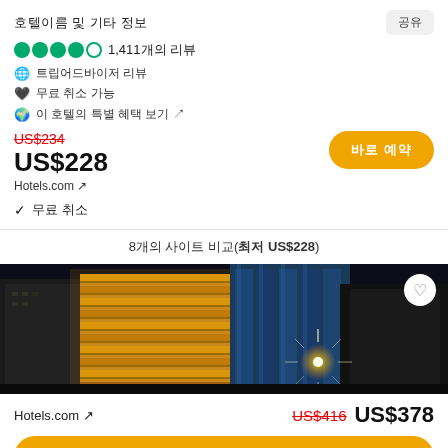호텔 이름 텍스트
1,411개의 리뷰
트립어드바이저 리뷰
무료 취소 가능
이 호텔의 특별 혜택 ↗
US$234 US$228 Hotels.com ↗
무료 취소
8개의 사이트 비교(최저 US$228)
[Figure (photo): Night photo of illuminated hotel building with dark sky background and star-burst street light]
Hotels.com ↗  US$416  US$378
바로 예약